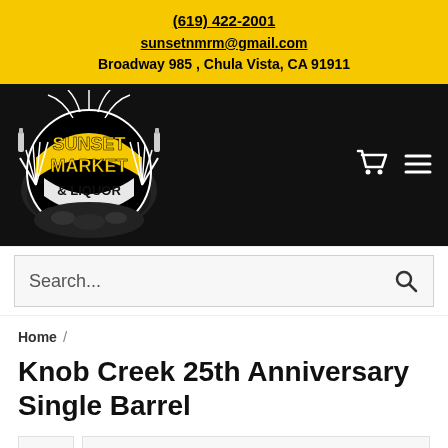(619) 422-2001
sunsetnmrm@gmail.com
Broadway 985 , Chula Vista, CA 91911
[Figure (logo): Sunset Market & Liquor logo — circular badge with yellow text on black background, skeletal hands holding bottles, palm tree motifs]
Search...
Home /
Knob Creek 25th Anniversary Single Barrel
[Figure (photo): Product image area for Knob Creek 25th Anniversary Single Barrel — partially visible, white/light gray background]